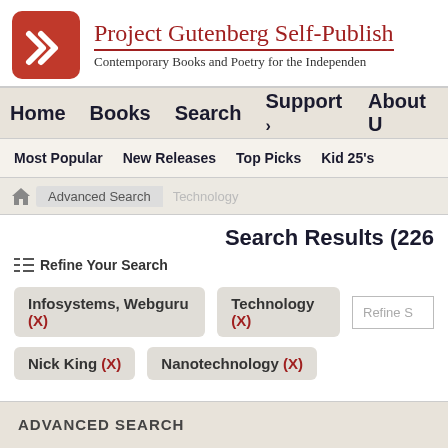[Figure (logo): Project Gutenberg Self-Publishing logo — red rounded square with white G checkmark]
Project Gutenberg Self-Publish
Contemporary Books and Poetry for the Independent
Home   Books   Search   Support ›   About U
Most Popular   New Releases   Top Picks   Kid 25's
Advanced Search   Technology
Search Results (226
Refine Your Search
Infosystems, Webguru (X)
Technology (X)
Refine S
Nick King (X)
Nanotechnology (X)
ADVANCED SEARCH